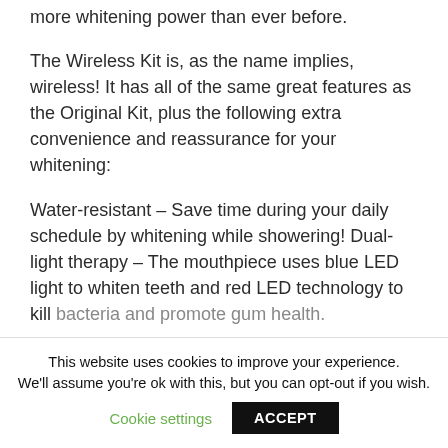more whitening power than ever before.
The Wireless Kit is, as the name implies, wireless! It has all of the same great features as the Original Kit, plus the following extra convenience and reassurance for your whitening:
Water-resistant – Save time during your daily schedule by whitening while showering! Dual-light therapy – The mouthpiece uses blue LED light to whiten teeth and red LED technology to kill bacteria and promote gum health.
This website uses cookies to improve your experience. We'll assume you're ok with this, but you can opt-out if you wish.
Cookie settings
ACCEPT